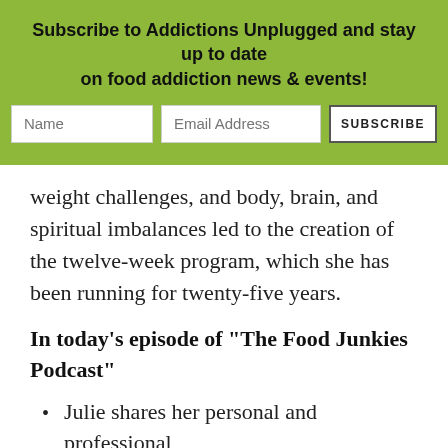Subscribe to Addictions Unplugged and stay up to date on food addiction news & events!
[Figure (other): Newsletter subscription form with Name and Email Address text fields and a SUBSCRIBE button]
weight challenges, and body, brain, and spiritual imbalances led to the creation of the twelve-week program, which she has been running for twenty-five years.
In today’s episode of “The Food Junkies Podcast”
Julie shares her personal and professional